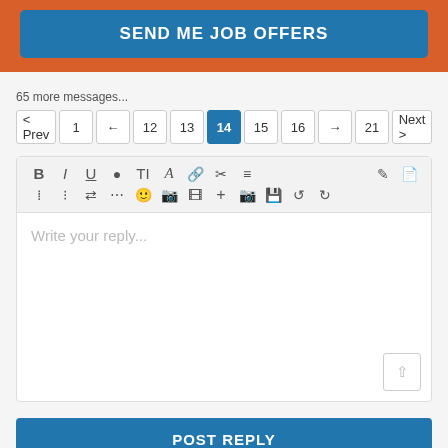[Figure (screenshot): Orange banner with blue 'SEND ME JOB OFFERS' button]
65 more messages...
[Figure (other): Pagination bar: < Prev, 1, ←, 12, 13, 14 (active), 15, 16, →, 21, Next >]
[Figure (screenshot): Rich text editor with toolbar and placeholder text 'Write your reply...']
[Figure (other): Blue POST REPLY button]